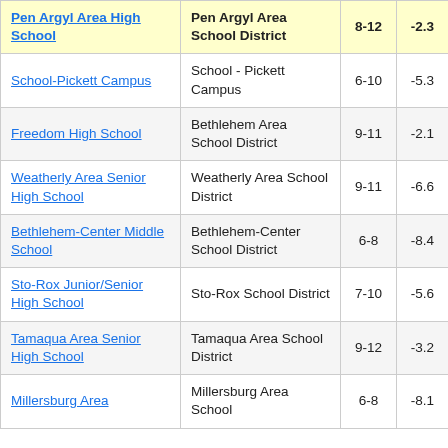| School | District | Grades | Score |
| --- | --- | --- | --- |
| Pen Argyl Area High School | Pen Argyl Area School District | 8-12 | -2.3 |
| School-Pickett Campus | School - Pickett Campus | 6-10 | -5.3 |
| Freedom High School | Bethlehem Area School District | 9-11 | -2.1 |
| Weatherly Area Senior High School | Weatherly Area School District | 9-11 | -6.6 |
| Bethlehem-Center Middle School | Bethlehem-Center School District | 6-8 | -8.4 |
| Sto-Rox Junior/Senior High School | Sto-Rox School District | 7-10 | -5.6 |
| Tamaqua Area Senior High School | Tamaqua Area School District | 9-12 | -3.2 |
| Millersburg Area | Millersburg Area School | 6-8 | -8.1 |